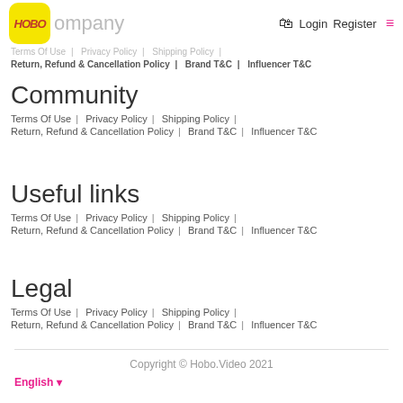Company | Terms Of Use | Privacy Policy | Shipping Policy | Return, Refund & Cancellation Policy | Brand T&C | Influencer T&C
Community
Terms Of Use | Privacy Policy | Shipping Policy | Return, Refund & Cancellation Policy | Brand T&C | Influencer T&C
Useful links
Terms Of Use | Privacy Policy | Shipping Policy | Return, Refund & Cancellation Policy | Brand T&C | Influencer T&C
Legal
Terms Of Use | Privacy Policy | Shipping Policy | Return, Refund & Cancellation Policy | Brand T&C | Influencer T&C
Copyright © Hobo.Video 2021
English ▾